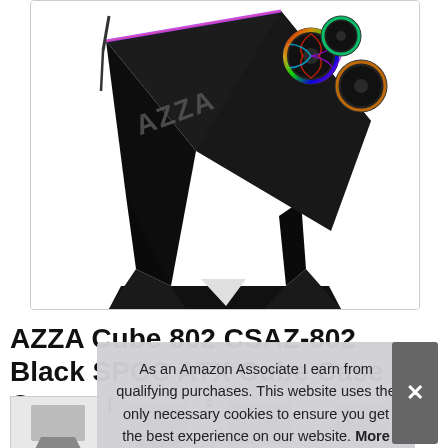[Figure (photo): AZZA Cube 802 CSAZ-802 computer case product photo showing a black cube-shaped PC case on a triangular stand with RGB fans visible on top, displayed at an angle against white background]
AZZA Cube 802 CSAZ-802 Black SPCC ATX Cube Case Computer Case
#ad
As an Amazon Associate I earn from qualifying purchases. This website uses the only necessary cookies to ensure you get the best experience on our website. More information
[Figure (photo): Thumbnail row of product images at the bottom of the page]